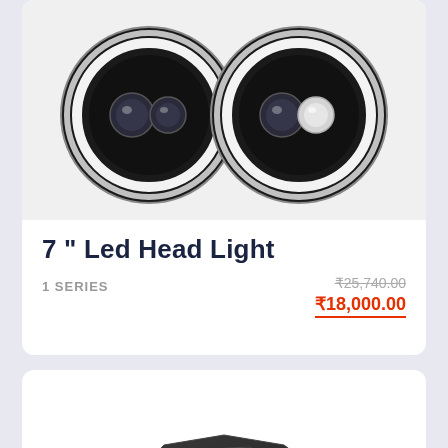[Figure (photo): Two round 7-inch LED headlights with white halo rings and projector lenses, shown from the front on a light grey background]
7 " Led Head Light
1 SERIES
₹25,740.00 (strikethrough original price)
₹18,000.00
[Figure (photo): A dark angular automotive part (possibly a bumper guard or skid plate) shown from above on a white background, partially cropped]